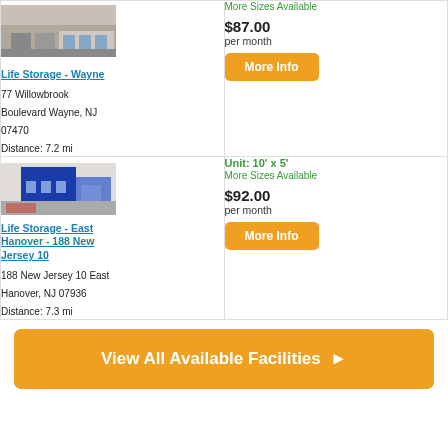[Figure (photo): Exterior photo of Life Storage - Wayne building]
Life Storage - Wayne
77 Willowbrook Boulevard Wayne, NJ 07470
Distance: 7.2 mi
More Sizes Available
$87.00
per month
More Info
[Figure (photo): Exterior photo of Life Storage - East Hanover - 188 New Jersey 10 building]
Life Storage - East Hanover - 188 New Jersey 10
188 New Jersey 10 East Hanover, NJ 07936
Distance: 7.3 mi
Unit: 10' x 5'
More Sizes Available
$92.00
per month
More Info
View All Available Facilities ▶